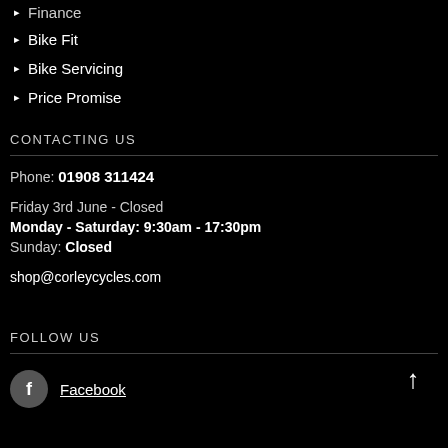Finance
Bike Fit
Bike Servicing
Price Promise
CONTACTING US
Phone: 01908 311424
Friday 3rd June - Closed
Monday - Saturday: 9:30am - 17:30pm
Sunday: Closed
shop@corleycycles.com
FOLLOW US
Facebook